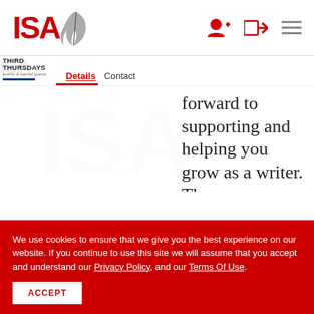[Figure (logo): ISA logo with red text and gray feather quill]
Details  Contact
[Figure (logo): Third Thursdays events & special guests logo]
forward to supporting and helping you grow as a writer. The
We use cookies to ensure that we give you the best experience on our website. If you continue to use this site we will assume that you accept and understand our Privacy Policy, and our Terms Of Use.
ACCEPT